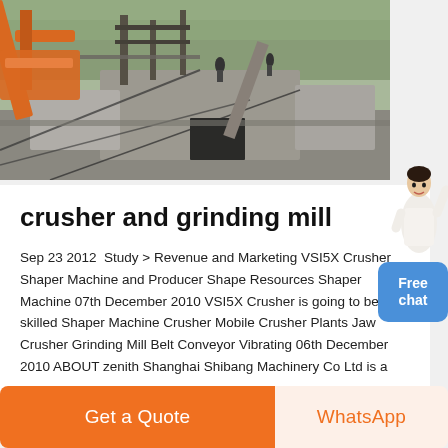[Figure (photo): Outdoor photograph of industrial crushing/mining machinery with orange metal structures, conveyor belts, and concrete foundations surrounded by trees.]
crusher and grinding mill
Sep 23 2012  Study > Revenue and Marketing VSI5X Crusher Shaper Machine and Producer Shape Resources Shaper Machine 07th December 2010 VSI5X Crusher is going to be the skilled Shaper Machine Crusher Mobile Crusher Plants Jaw Crusher Grinding Mill Belt Conveyor Vibrating 06th December 2010 ABOUT zenith Shanghai Shibang Machinery Co Ltd is a
[Figure (photo): Customer service representative illustration — a woman in white jacket posing with arm raised.]
Free chat
Get a Quote
WhatsApp